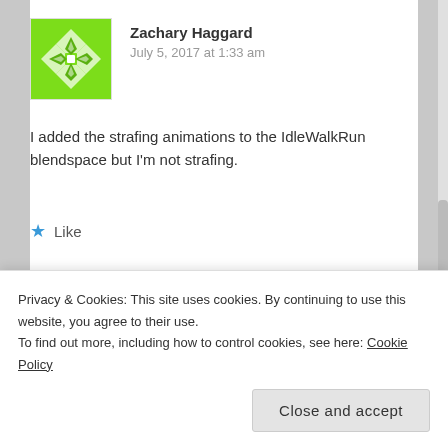[Figure (illustration): Green geometric avatar with diamond/cross pattern for user Zachary Haggard]
Zachary Haggard
July 5, 2017 at 1:33 am
I added the strafing animations to the IdleWalkRun blendspace but I'm not strafing.
★ Like
REPLY
[Figure (illustration): Partial avatar visible at bottom, cropped]
Privacy & Cookies: This site uses cookies. By continuing to use this website, you agree to their use.
To find out more, including how to control cookies, see here: Cookie Policy
Close and accept